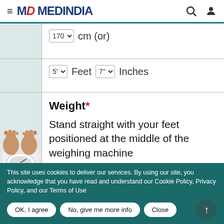MD MEDINDIA
170 cm (or)
5' Feet 7" Inches
Weight*
Stand straight with your feet positioned at the middle of the weighing machine
[Figure (photo): Feet standing on a weighing scale]
This site uses cookies to deliver our services. By using our site, you acknowledge that you have read and understand our Cookie Policy, Privacy Policy, and our Terms of Use